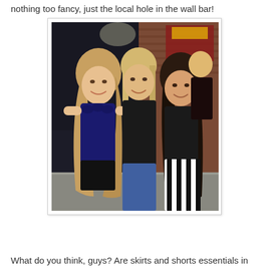nothing too fancy, just the local hole in the wall bar!
[Figure (photo): Three young women posing together outdoors at night near a bar. The woman on the left wears a navy blue ruffled top and black shorts with long wavy blonde hair. The woman in the middle wears a black top with jeans and has straight blonde hair. The woman on the right wears a black top with a black and white striped skirt and has long dark wavy hair. Another woman is visible in the background.]
What do you think, guys? Are skirts and shorts essentials in